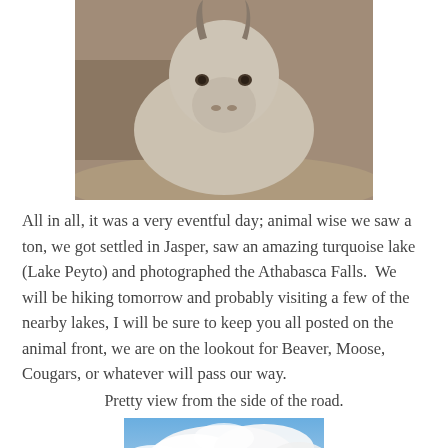[Figure (photo): Close-up sepia-toned photo of a mountain goat or similar horned animal looking down toward the camera, against a dirt/sand background]
All in all, it was a very eventful day; animal wise we saw a ton, we got settled in Jasper, saw an amazing turquoise lake (Lake Peyto) and photographed the Athabasca Falls.  We will be hiking tomorrow and probably visiting a few of the nearby lakes, I will be sure to keep you all posted on the animal front, we are on the lookout for Beaver, Moose, Cougars, or whatever will pass our way.
Pretty view from the side of the road.
[Figure (photo): Photo of a blue sky with large white cumulus clouds]